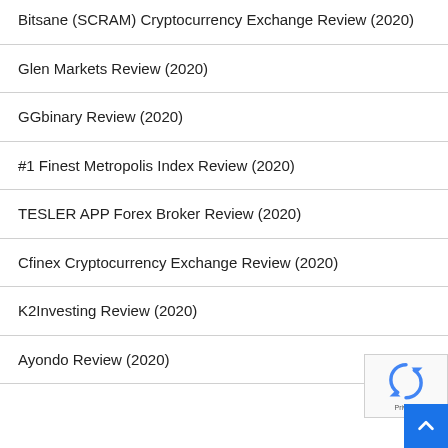Bitsane (SCRAM) Cryptocurrency Exchange Review (2020)
Glen Markets Review (2020)
GGbinary Review (2020)
#1 Finest Metropolis Index Review (2020)
TESLER APP Forex Broker Review (2020)
Cfinex Cryptocurrency Exchange Review (2020)
K2Investing Review (2020)
Ayondo Review (2020)